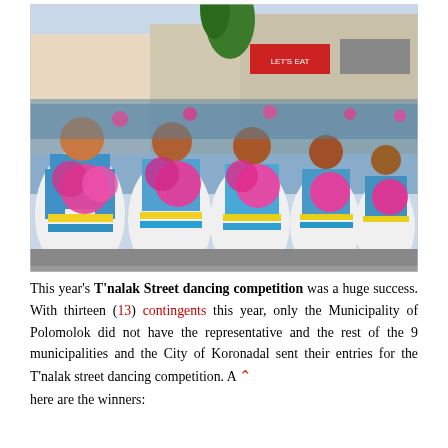[Figure (photo): A large group of female dancers in colorful blue, yellow, and white traditional Filipino costumes holding large pink flower props, performing in a street dancing competition. Buildings and spectators visible in the background.]
This year's T'nalak Street dancing competition was a huge success. With thirteen (13) contingents this year, only the Municipality of Polomolok did not have the representative and the rest of the 9 municipalities and the City of Koronadal sent their entries for the T'nalak street dancing competition. A ∧ here are the winners: